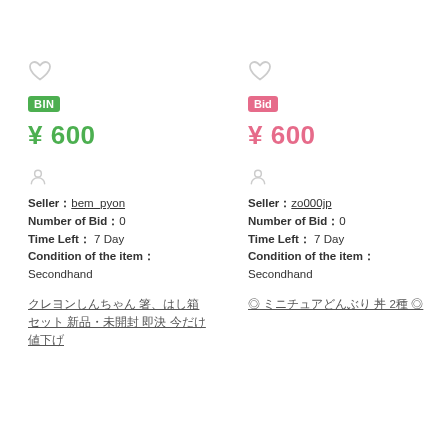[Figure (other): Heart icon (outline, grey) for left listing]
BIN
¥ 600
[Figure (other): User/person icon (outline, grey) for left listing]
Seller：bem_pyon
Number of Bid：0
Time Left： 7 Day
Condition of the item：
Secondhand
クレヨンしんちゃん 箸、はし箱セット 新品・未開封 即決 今だけ値下げ
[Figure (other): Heart icon (outline, grey) for right listing]
Bid
¥ 600
[Figure (other): User/person icon (outline, grey) for right listing]
Seller：zo000jp
Number of Bid：0
Time Left： 7 Day
Condition of the item：
Secondhand
◎ ミニチュアどんぶり 丼 2種 ◎